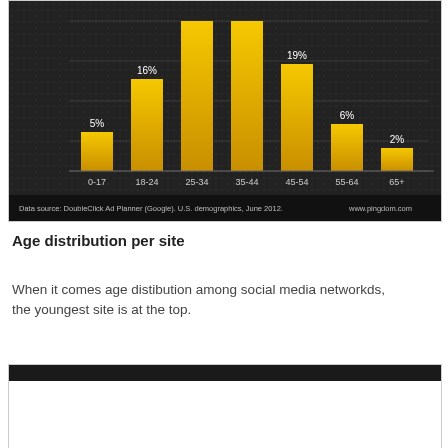[Figure (bar-chart): Age distribution on social media]
Data source: DoubleClick Ad Planner (Google). U.S. demographics, June 2012.    www.pingdom.com
Age distribution per site
When it comes age distibution among social media networkds, the youngest site is at the top.
[Figure (other): Partial chart with dark header bar, content cut off]